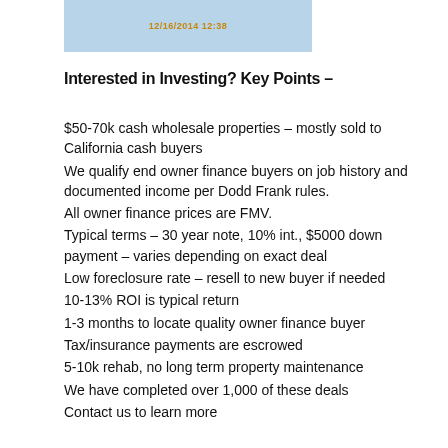[Figure (photo): Partial photo strip showing a blurred indoor scene with a timestamp overlay reading 12/16/2014 12:38]
Interested in Investing? Key Points –
$50-70k cash wholesale properties – mostly sold to California cash buyers
We qualify end owner finance buyers on job history and documented income per Dodd Frank rules.
All owner finance prices are FMV.
Typical terms – 30 year note, 10% int., $5000 down payment – varies depending on exact deal
Low foreclosure rate – resell to new buyer if needed
10-13% ROI is typical return
1-3 months to locate quality owner finance buyer
Tax/insurance payments are escrowed
5-10k rehab, no long term property maintenance
We have completed over 1,000 of these deals
Contact us to learn more